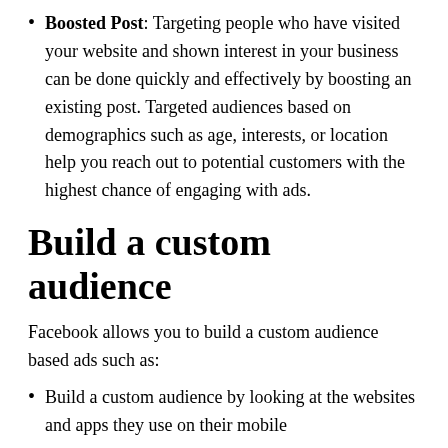Boosted Post: Targeting people who have visited your website and shown interest in your business can be done quickly and effectively by boosting an existing post. Targeted audiences based on demographics such as age, interests, or location help you reach out to potential customers with the highest chance of engaging with ads.
Build a custom audience
Facebook allows you to build a custom audience based ads such as:
Build a custom audience by looking at the websites and apps they use on their mobile